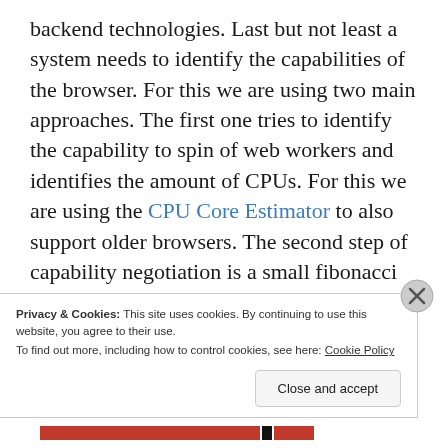backend technologies. Last but not least a system needs to identify the capabilities of the browser. For this we are using two main approaches. The first one tries to identify the capability to spin of web workers and identifies the amount of CPUs. For this we are using the CPU Core Estimator to also support older browsers. The second step of capability negotiation is a small fibonacci calculation to identify how fast the browser really is. If we come to a positive result our system starts the
Privacy & Cookies: This site uses cookies. By continuing to use this website, you agree to their use.
To find out more, including how to control cookies, see here: Cookie Policy
Close and accept